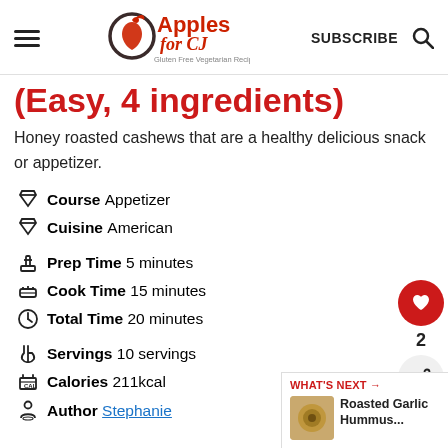Apples for CJ — Gluten Free Vegetarian Recipes | SUBSCRIBE
(Easy, 4 ingredients)
Honey roasted cashews that are a healthy delicious snack or appetizer.
Course  Appetizer
Cuisine  American
Prep Time  5 minutes
Cook Time  15 minutes
Total Time  20 minutes
Servings  10 servings
Calories  211kcal
Author  Stephanie
WHAT'S NEXT → Roasted Garlic Hummus...